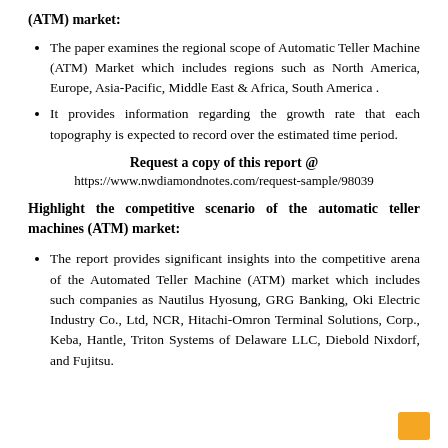(ATM) market:
The paper examines the regional scope of Automatic Teller Machine (ATM) Market which includes regions such as North America, Europe, Asia-Pacific, Middle East & Africa, South America .
It provides information regarding the growth rate that each topography is expected to record over the estimated time period.
Request a copy of this report @
https://www.nwdiamondnotes.com/request-sample/98039
Highlight the competitive scenario of the automatic teller machines (ATM) market:
The report provides significant insights into the competitive arena of the Automated Teller Machine (ATM) market which includes such companies as Nautilus Hyosung, GRG Banking, Oki Electric Industry Co., Ltd, NCR, Hitachi-Omron Terminal Solutions, Corp., Keba, Hantle, Triton Systems of Delaware LLC, Diebold Nixdorf, and Fujitsu.